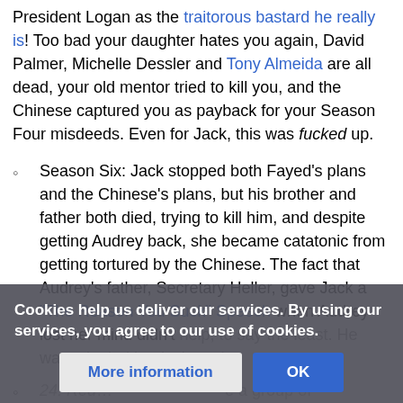President Logan as the traitorous bastard he really is! Too bad your daughter hates you again, David Palmer, Michelle Dessler and Tony Almeida are all dead, your old mentor tried to kill you, and the Chinese captured you as payback for your Season Four misdeeds. Even for Jack, this was fucked up.
Season Six: Jack stopped both Fayed's plans and the Chinese's plans, but his brother and father both died, trying to kill him, and despite getting Audrey back, she became catatonic from getting tortured by the Chinese. The fact that Audrey's father, Secretary Heller, gave Jack a "The Reason You Suck" Speech when Audrey lost her mind didn't help, to say the least. He was crippled by day's end.
24: Red... ...e a group of
Cookies help us deliver our services. By using our services, you agree to our use of cookies.